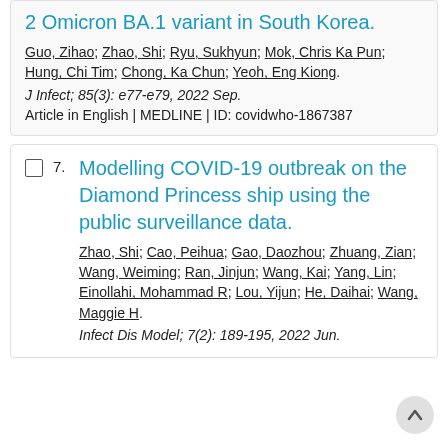2 Omicron BA.1 variant in South Korea.
Guo, Zihao; Zhao, Shi; Ryu, Sukhyun; Mok, Chris Ka Pun; Hung, Chi Tim; Chong, Ka Chun; Yeoh, Eng Kiong.
J Infect; 85(3): e77-e79, 2022 Sep.
Article in English | MEDLINE | ID: covidwho-1867387
Modelling COVID-19 outbreak on the Diamond Princess ship using the public surveillance data.
Zhao, Shi; Cao, Peihua; Gao, Daozhou; Zhuang, Zian; Wang, Weiming; Ran, Jinjun; Wang, Kai; Yang, Lin; Einollahi, Mohammad R; Lou, Yijun; He, Daihai; Wang, Maggie H.
Infect Dis Model; 7(2): 189-195, 2022 Jun.